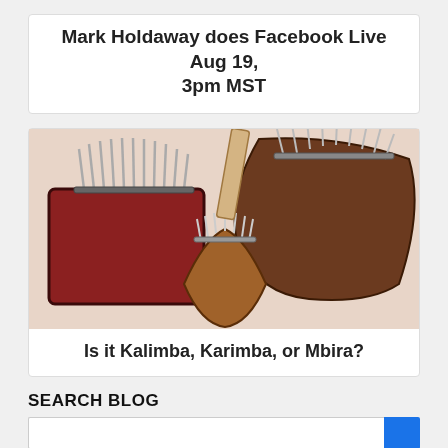Mark Holdaway does Facebook Live Aug 19, 3pm MST
[Figure (photo): Three kalimba/mbira instruments arranged on a light pink surface: a large rectangular red-brown kalimba on the left, a large curved dark-wood mbira on the upper right, and a small fan-shaped kalimba in the center foreground, all showing metal tines.]
Is it Kalimba, Karimba, or Mbira?
SEARCH BLOG